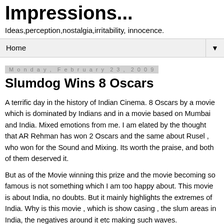Impressions...
Ideas,perception,nostalgia,irritability, innocence.
Home
Monday, February 23, 2009
Slumdog Wins 8 Oscars
A terrific day in the history of Indian Cinema. 8 Oscars by a movie which is dominated by Indians and in a movie based on Mumbai and India. Mixed emotions from me. I am elated by the thought that AR Rehman has won 2 Oscars and the same about Rusel , who won for the Sound and Mixing. Its worth the praise, and both of them deserved it.
But as of the Movie winning this prize and the movie becoming so famous is not something which I am too happy about. This movie is about India, no doubts. But it mainly highlights the extremes of India. Why is this movie , which is show casing , the slum areas in India, the negatives around it etc making such waves.